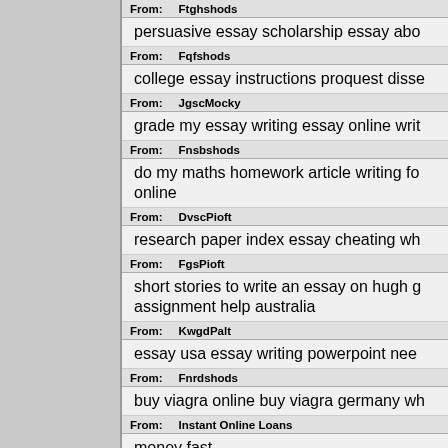From: Ftghshods
persuasive essay scholarship essay abo...
From: Fqfshods
college essay instructions proquest disse...
From: JgscMocky
grade my essay writing essay online writ...
From: Fnsbshods
do my maths homework article writing fo... online
From: DvscPioft
research paper index essay cheating wh...
From: FgsPioft
short stories to write an essay on hugh g... assignment help australia
From: KwgdPalt
essay usa essay writing powerpoint nee...
From: Fnrdshods
buy viagra online buy viagra germany wh...
From: Instant Online Loans
money fast
From: aig insurance